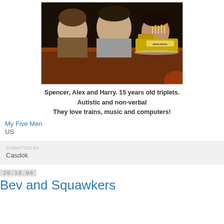[Figure (photo): Three teenage boys (Spencer, Alex and Harry) sitting at a table with a Union Pacific train-shaped birthday cake with lit candles]
Spencer, Alex and Harry. 15 years old triplets. Autistic and non-verbal
They love trains, music and computers!
My Five Men
US
Casdok
20.10.08
Bev and Squawkers